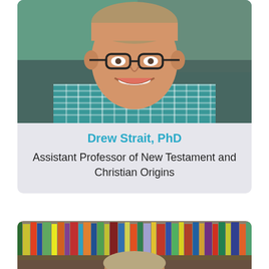[Figure (photo): Headshot of Drew Strait, PhD, a smiling man wearing glasses and a teal/white checkered shirt, cropped to show face and upper torso.]
Drew Strait, PhD
Assistant Professor of New Testament and Christian Origins
[Figure (photo): Photo of a library bookshelf filled with colorful books, with the top of a person's head visible at the bottom of the frame.]